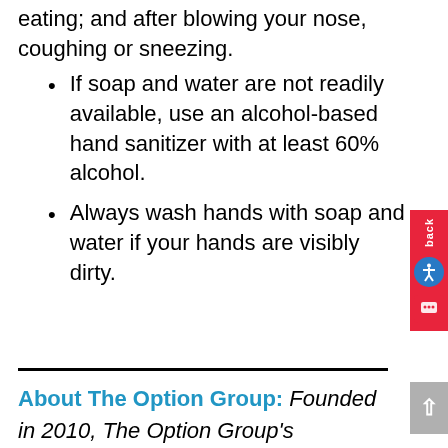eating; and after blowing your nose, coughing or sneezing.
If soap and water are not readily available, use an alcohol-based hand sanitizer with at least 60% alcohol.
Always wash hands with soap and water if your hands are visibly dirty.
About The Option Group: Founded in 2010, The Option Group's compassionate team of experienced Certified Life Care Managers serves families, their loved ones, medical